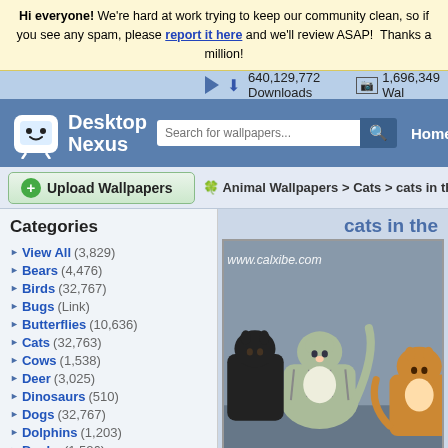Hi everyone! We're hard at work trying to keep our community clean, so if you see any spam, please report it here and we'll review ASAP! Thanks a million!
640,129,772 Downloads   1,696,349 Wal
[Figure (screenshot): Desktop Nexus logo — white robot mascot icon with blue background text 'Desktop Nexus']
Search for wallpapers...
Home
Upload Wallpapers
Animal Wallpapers > Cats > cats in the
Categories
View All (3,829)
Bears (4,476)
Birds (32,767)
Bugs (Link)
Butterflies (10,636)
Cats (32,763)
Cows (1,538)
Deer (3,025)
Dinosaurs (510)
Dogs (32,767)
Dolphins (1,203)
Ducks (1,526)
Elephants (1,302)
Fish (3,162)
Frogs (5,710)
cats in the
[Figure (photo): Photo of multiple cats grouped together — tabby and black cats sitting/standing, with watermark www.calxibe.com]